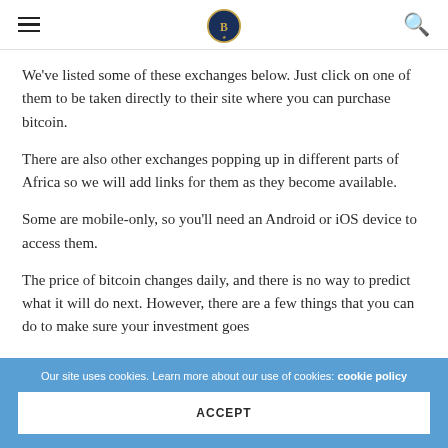We've listed some of these exchanges below. Just click on one of them to be taken directly to their site where you can purchase bitcoin.
There are also other exchanges popping up in different parts of Africa so we will add links for them as they become available.
Some are mobile-only, so you'll need an Android or iOS device to access them.
The price of bitcoin changes daily, and there is no way to predict what it will do next. However, there are a few things that you can do to make sure your investment goes well.
Our site uses cookies. Learn more about our use of cookies: cookie policy
ACCEPT